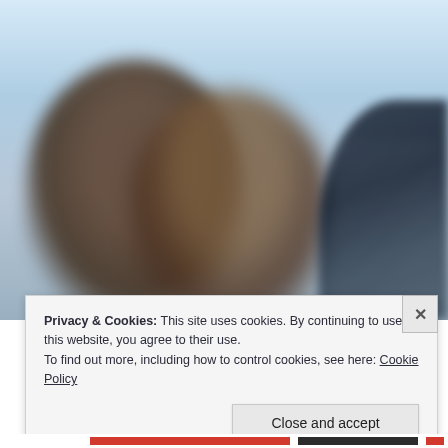[Figure (photo): Blurred photograph of children, with two children visible in the center-left and a dark jacket on the right side. Background is bright/white sky.]
Privacy & Cookies: This site uses cookies. By continuing to use this website, you agree to their use.
To find out more, including how to control cookies, see here: Cookie Policy
Close and accept